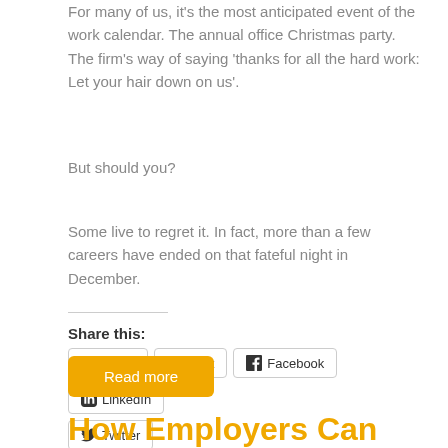For many of us, it's the most anticipated event of the work calendar. The annual office Christmas party. The firm's way of saying 'thanks for all the hard work: Let your hair down on us'.
But should you?
Some live to regret it. In fact, more than a few careers have ended on that fateful night in December.
Share this:
Email  Print  Facebook  LinkedIn  Twitter
Read more
How Employers Can